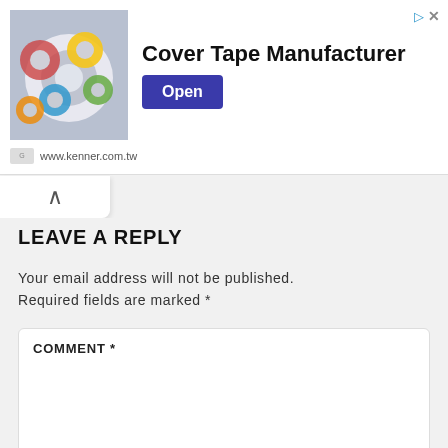[Figure (screenshot): Advertisement banner for Cover Tape Manufacturer (www.kenner.com.tw) with product image of tape rolls on left, bold title text and blue Open button on right.]
LEAVE A REPLY
Your email address will not be published. Required fields are marked *
COMMENT *